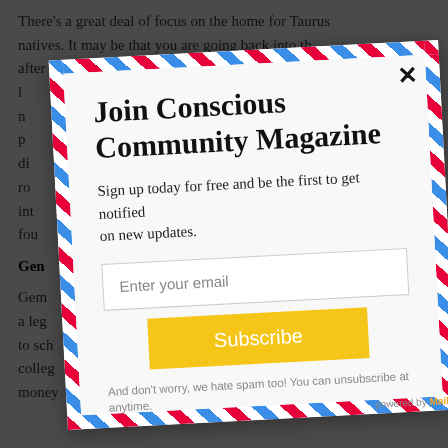There's a great deal of focus on the home for Taurus natives. It may be that you are going back into the after working at home...
Gem
Gem... a legal... to school... college... money...
Join Conscious Community Magazine
Sign up today for free and be the first to get notified on new updates.
Enter your email
Subscribe
And don't worry, we hate spam too! You can unsubscribe at anytime.
powered by Mail